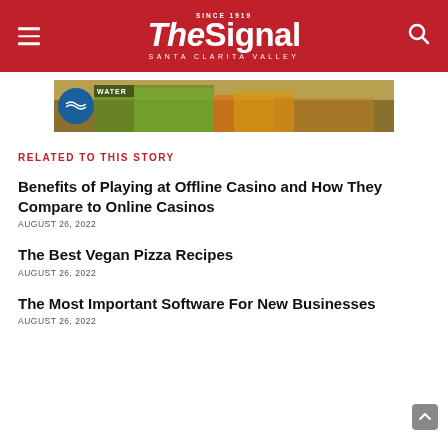The Signal — Santa Clarita Valley
[Figure (photo): Advertisement banner showing water-smart landscaping with colorful flowers and grasses, featuring a water agency logo on the left.]
RELATED TO THIS STORY
Benefits of Playing at Offline Casino and How They Compare to Online Casinos
AUGUST 26, 2022
The Best Vegan Pizza Recipes
AUGUST 26, 2022
The Most Important Software For New Businesses
AUGUST 26, 2022